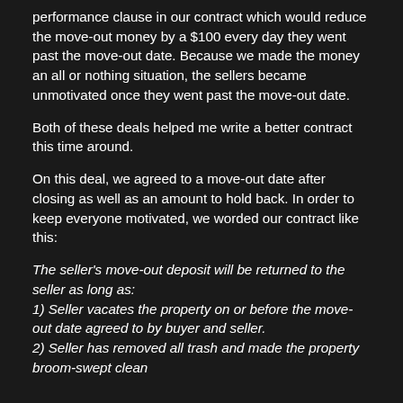performance clause in our contract which would reduce the move-out money by a $100 every day they went past the move-out date. Because we made the money an all or nothing situation, the sellers became unmotivated once they went past the move-out date.
Both of these deals helped me write a better contract this time around.
On this deal, we agreed to a move-out date after closing as well as an amount to hold back. In order to keep everyone motivated, we worded our contract like this:
The seller's move-out deposit will be returned to the seller as long as:
1) Seller vacates the property on or before the move-out date agreed to by buyer and seller.
2) Seller has removed all trash and made the property broom-swept clean